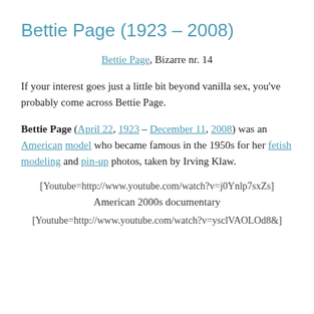Bettie Page (1923 – 2008)
Bettie Page, Bizarre nr. 14
If your interest goes just a little bit beyond vanilla sex, you've probably come across Bettie Page.
Bettie Page (April 22, 1923 – December 11, 2008) was an American model who became famous in the 1950s for her fetish modeling and pin-up photos, taken by Irving Klaw.
[Youtube=http://www.youtube.com/watch?v=j0Ynlp7sxZs]
American 2000s documentary
[Youtube=http://www.youtube.com/watch?v=ysclVAOLOd8&]